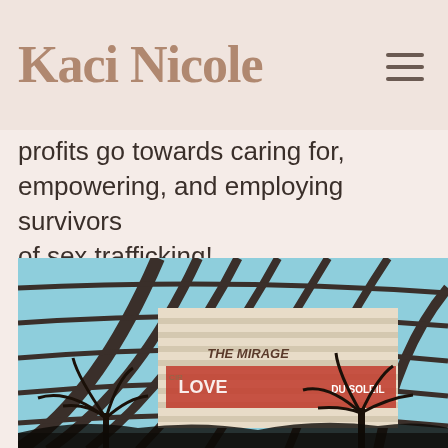Kaci Nicole
profits go towards caring for, empowering, and employing survivors of sex trafficking!
[Figure (photo): Upward view through a large glass dome ceiling with dark structural beams, showing a blue sky and in the background The Mirage hotel/casino building with LOVE and Cirque du Soleil signage, with palm tree silhouettes in the foreground.]